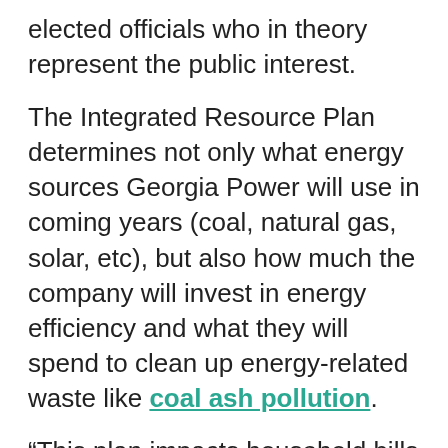elected officials who in theory represent the public interest.
The Integrated Resource Plan determines not only what energy sources Georgia Power will use in coming years (coal, natural gas, solar, etc), but also how much the company will invest in energy efficiency and what they will spend to clean up energy-related waste like coal ash pollution.
“This plan impacts household bills and our environment,” said Cary Ritzler, organizer with the Southern Alliance for Clean Energy. “It decides how much renewable energy Georgia Power will use and when.”